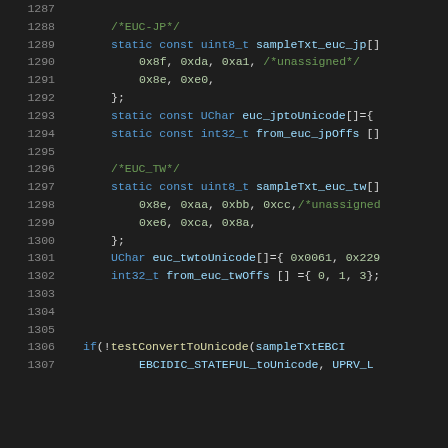[Figure (screenshot): Source code viewer showing C/C++ code lines 1287–1307 with syntax highlighting on a dark background. Lines show EUC-JP and EUC_TW encoding data arrays and a testConvertToUnicode function call.]